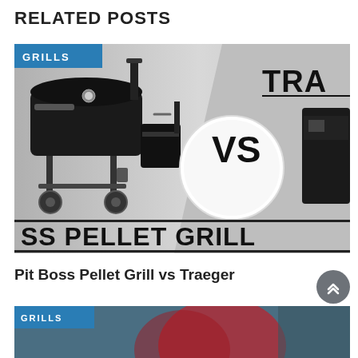RELATED POSTS
[Figure (photo): Grills comparison image: black pellet grill on left, VS badge in center, partial Traeger grill on right. Text overlaid: 'SS PELLET GRILL' and 'TRA'. GRILLS category badge in top-left corner.]
Pit Boss Pellet Grill vs Traeger
[Figure (photo): Partial view of a second comparison image with a GRILLS badge, dark teal/blue background with a partial circular logo element.]